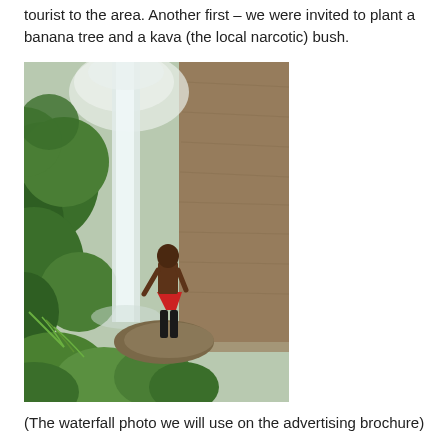tourist to the area. Another first – we were invited to plant a banana tree and a kava (the local narcotic) bush.
[Figure (photo): A person standing on a rock in front of a large waterfall surrounded by lush tropical green vegetation and a stone cliff wall. The person is shirtless and wearing a red garment.]
(The waterfall photo we will use on the advertising brochure)